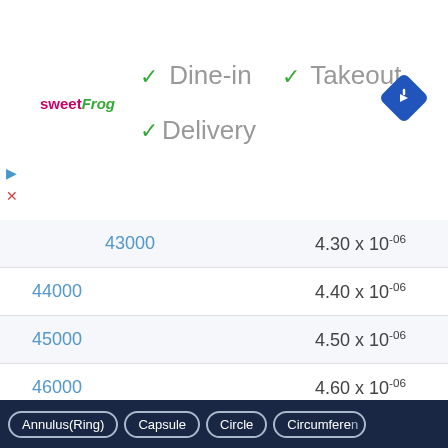[Figure (screenshot): SweetFrog restaurant listing showing dine-in, takeout, and delivery options with checkmarks]
| Value | Result |
| --- | --- |
| 43000 | 4.30 × 10⁻⁰⁶ |
| 44000 | 4.40 × 10⁻⁰⁶ |
| 45000 | 4.50 × 10⁻⁰⁶ |
| 46000 | 4.60 × 10⁻⁰⁶ |
| 47000 | 4.70 × 10⁻⁰⁶ |
| 48000 | 4.80 × 10⁻⁰⁶ |
| 49000 | 4.90 × 10⁻⁰⁶ |
| 50000 | 5.00 × 10⁻⁰⁶ |
Annulus(Ring) | Capsule | Circle | Circumference